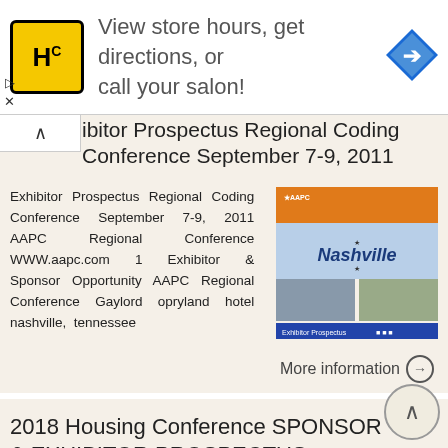[Figure (other): Advertisement banner for HC salon with logo, text 'View store hours, get directions, or call your salon!', and a blue direction arrow icon]
Exhibitor Prospectus Regional Coding Conference September 7-9, 2011
Exhibitor Prospectus Regional Coding Conference September 7-9, 2011 AAPC Regional Conference WWW.aapc.com 1 Exhibitor & Sponsor Opportunity AAPC Regional Conference Gaylord opryland hotel nashville, tennessee
More information →
2018 Housing Conference SPONSOR & EXHIBITOR PROSPECTUS
August 21, 2018 August 22, 2018 2018 Housing Conference SPONSOR &